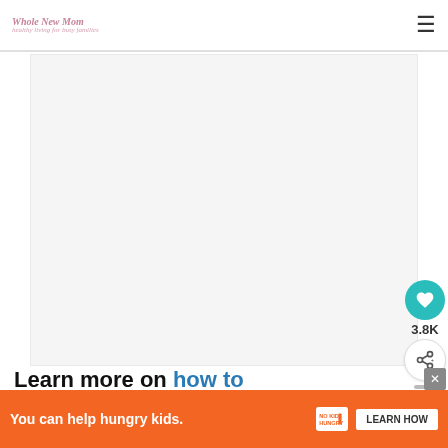Website logo / header navigation with hamburger menu
[Figure (photo): Large white/blank image placeholder area for article hero image]
Learn more on how to increase milk supply for breastfeeding moms
[Figure (infographic): What's Next panel showing thumbnail and text: New Moms mistakes wit...]
[Figure (infographic): Advertisement banner: You can help hungry kids. No Kid Hungry. LEARN HOW]
[Figure (infographic): Social sharing sidebar with heart icon showing 3.8K and share button]